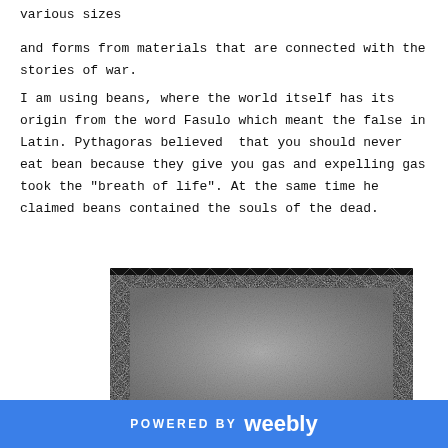various sizes
and forms from materials that are connected with the stories of war.
I am using beans, where the world itself has its origin from the word Fasulo which meant the false in Latin. Pythagoras believed that you should never eat bean because they give you gas and expelling gas took the "breath of life". At the same time he claimed beans contained the souls of the dead.
[Figure (photo): A rectangular artwork or mat made of dark grey granular material (like gravel or seeds/beans) with a black quilted diamond-pattern border framing it.]
POWERED BY weebly